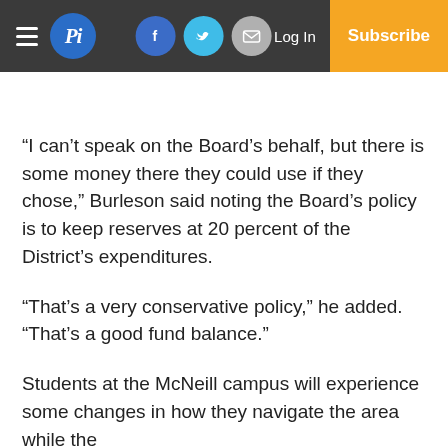Pi — Log In | Subscribe
“I can’t speak on the Board’s behalf, but there is some money there they could use if they chose,” Burleson said noting the Board’s policy is to keep reserves at 20 percent of the District’s expenditures.
“That’s a very conservative policy,” he added. “That’s a good fund balance.”
Students at the McNeill campus will experience some changes in how they navigate the area while the